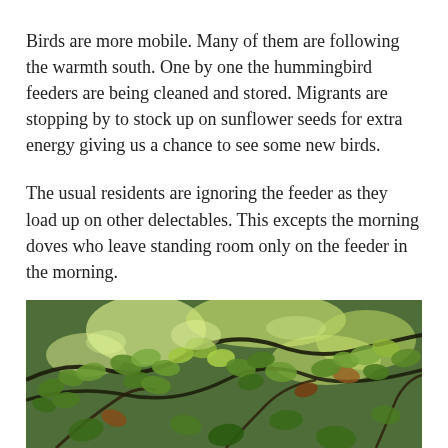Birds are more mobile. Many of them are following the warmth south. One by one the hummingbird feeders are being cleaned and stored. Migrants are stopping by to stock up on sunflower seeds for extra energy giving us a chance to see some new birds.
The usual residents are ignoring the feeder as they load up on other delectables. This excepts the morning doves who leave standing room only on the feeder in the morning.
The turkey vultures are gathering and soaring in lazy circles as they drift south. The goldfinches have shed their gold feathers and are dull green now.
[Figure (photo): Photograph of green tree leaves and branches shot from below against bright sky, with sunlight filtering through the canopy showing various shades of green and some reddish-brown leaves.]